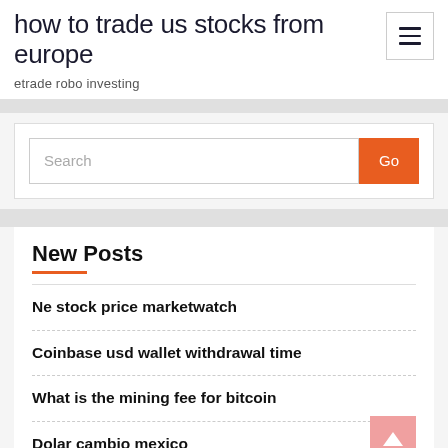how to trade us stocks from europe
etrade robo investing
Search
New Posts
Ne stock price marketwatch
Coinbase usd wallet withdrawal time
What is the mining fee for bitcoin
Dolar cambio mexico
Sell litecoin to paypal